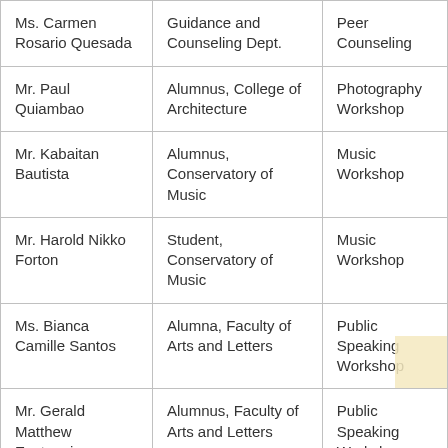| Ms. Carmen Rosario Quesada | Guidance and Counseling Dept. | Peer Counseling |
| Mr. Paul Quiambao | Alumnus, College of Architecture | Photography Workshop |
| Mr. Kabaitan Bautista | Alumnus, Conservatory of Music | Music Workshop |
| Mr. Harold Nikko Forton | Student, Conservatory of Music | Music Workshop |
| Ms. Bianca Camille Santos | Alumna, Faculty of Arts and Letters | Public Speaking Workshop |
| Mr. Gerald Matthew Eustaquio | Alumnus, Faculty of Arts and Letters | Public Speaking Workshop |
| (partial) | Alumnus, Faculty... | Public... |